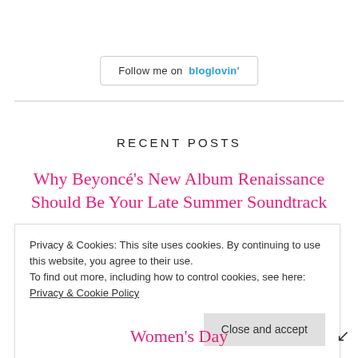[Figure (logo): Follow me on bloglovin' button with border]
RECENT POSTS
Why Beyoncé's New Album Renaissance Should Be Your Late Summer Soundtrack
7 Ways to Fall in Love with Blogging Again
Privacy & Cookies: This site uses cookies. By continuing to use this website, you agree to their use. To find out more, including how to control cookies, see here: Privacy & Cookie Policy
Close and accept
Women's Day